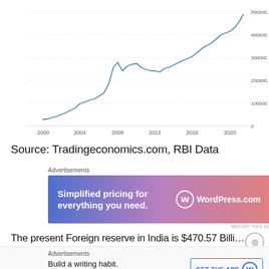[Figure (continuous-plot): Line chart showing India's Foreign Exchange Reserves from 2000 to 2021, rising from about 30,000 to nearly 500,000 (USD million). The line shows strong growth with a peak around 2008 near 310,000, a dip, then continued rise peaking near 500,000 in 2021. Y-axis: 0 to 500000. X-axis: 2000, 2004, 2008, 2012, 2016, 2020. Source: TRADINGECONOMICS.COM | RESERVE BANK OF INDIA]
Source: Tradingeconomics.com, RBI Data
[Figure (screenshot): Advertisement banner for WordPress.com: 'Simplified pricing for everything you need.' with WordPress.com logo on gradient blue-purple-pink background.]
The present Foreign reserve in India is $470.57 Billion
[Figure (screenshot): Bottom advertisement bar: 'Build a writing habit. Post on the go.' with GET THE APP button and WordPress logo.]